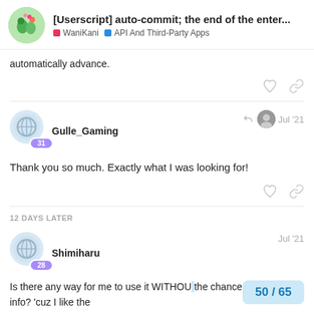[Userscript] auto-commit; the end of the enter... | WaniKani | API And Third-Party Apps
automatically advance.
Gulle_Gaming  Jul '21
Thank you so much. Exactly what I was looking for!
12 DAYS LATER
Shimiharu  Jul '21
Is there any way for me to use it WITHOU the chance to check the info? 'cuz I like the
50 / 65